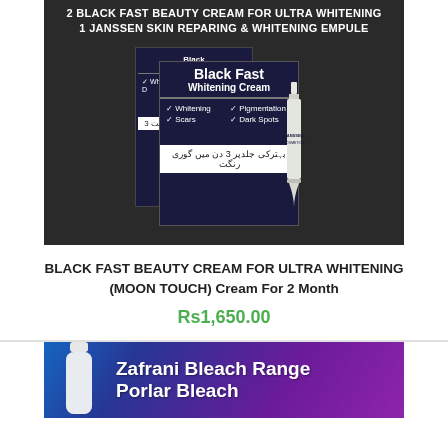[Figure (photo): Product photo showing 2 Black Fast Whitening Cream boxes and 1 Janssen Skin Reparing & Whitening Empule ampoule on dark background. Top text reads: 2 BLACK FAST BEAUTY CREAM FOR ULTRA WHITENING / 1 JANSSEN SKIN REPARING & WHITENING EMPULE]
BLACK FAST BEAUTY CREAM FOR ULTRA WHITENING (MOON TOUCH) Cream For 2 Month
Rs1,650.00
[Figure (photo): Partial product image showing a white bottle/tube against a blue-purple gradient background with text: Zafrani Bleach Range / Porlar Bleach]